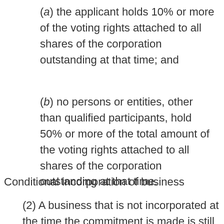(a) the applicant holds 10% or more of the voting rights attached to all shares of the corporation outstanding at that time; and
(b) no persons or entities, other than qualified participants, hold 50% or more of the total amount of the voting rights attached to all shares of the corporation outstanding at that time.
Conditional incorporation of business
(2) A business that is not incorporated at the time the commitment is made is still